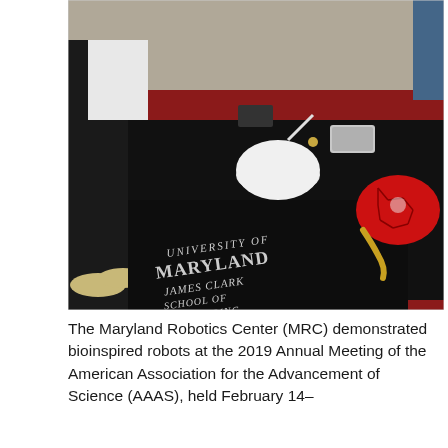[Figure (photo): A University of Maryland James Clark School of Engineering booth display at a conference event. A black tablecloth with the university name is visible. On the table are robotic devices including a white dome-shaped robot and a red hexagonal-patterned robot/turtle shell. A person in black pants and white shoes stands near the table. A red carpet is on the floor.]
The Maryland Robotics Center (MRC) demonstrated bioinspired robots at the 2019 Annual Meeting of the American Association for the Advancement of Science (AAAS), held February 14–